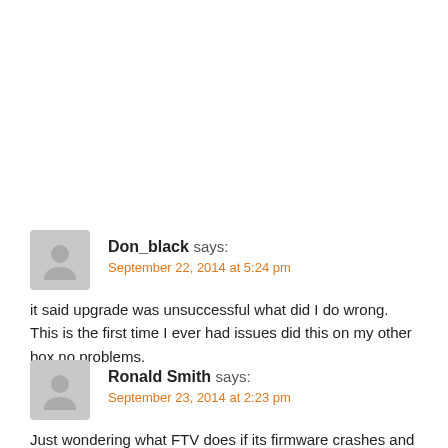Don_black says: September 22, 2014 at 5:24 pm
it said upgrade was unsuccessful what did I do wrong. This is the first time I ever had issues did this on my other box no problems.
Reply
Ronald Smith says: September 23, 2014 at 2:23 pm
Just wondering what FTV does if its firmware crashes and the